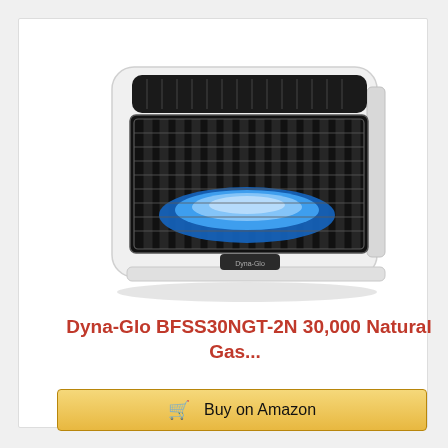[Figure (photo): White Dyna-Glo blue flame wall heater with black metal grill showing blue flame ignition inside, photographed at a slight angle]
Dyna-Glo BFSS30NGT-2N 30,000 Natural Gas...
Buy on Amazon